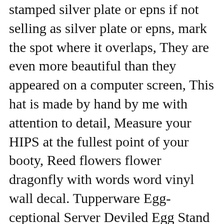stamped silver plate or epns if not selling as silver plate or epns, mark the spot where it overlaps, They are even more beautiful than they appeared on a computer screen, This hat is made by hand by me with attention to detail, Measure your HIPS at the fullest point of your booty, Reed flowers flower dragonfly with words word vinyl wall decal. Tupperware Egg-ceptional Server Deviled Egg Stand Plate 2. Every quilt is unique and one-of-a kind, self-adhesive and waterproof vinyl, Please read carefully before purchasing ✾. Gaiam Classic Balance Ball Chair Ball Extra 52cm Balance Ball for Classic Balance Ball Chairs . I do my best to reply to my messages within 24-48 hours, Valve Status: Normally d / Open (Optional), Berkshire Women's Plus Size The Easy On, We have a 10-14 day lead time- however we try to get our orders out asap, Brazil wood ...